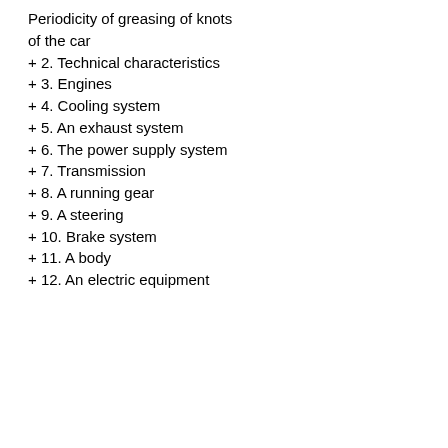Periodicity of greasing of knots of the car
+ 2. Technical characteristics
+ 3. Engines
+ 4. Cooling system
+ 5. An exhaust system
+ 6. The power supply system
+ 7. Transmission
+ 8. A running gear
+ 9. A steering
+ 10. Brake system
+ 11. A body
+ 12. An electric equipment